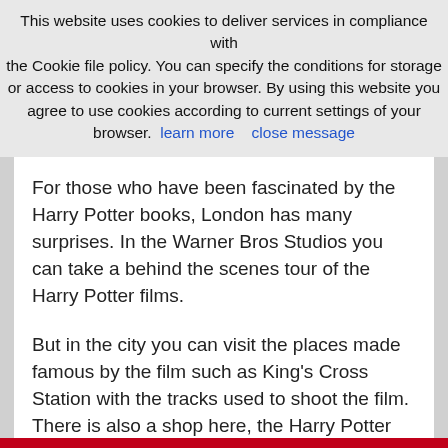This website uses cookies to deliver services in compliance with the Cookie file policy. You can specify the conditions for storage or access to cookies in your browser. By using this website you agree to use cookies according to current settings of your browser. learn more   close message
For those who have been fascinated by the Harry Potter books, London has many surprises. In the Warner Bros Studios you can take a behind the scenes tour of the Harry Potter films.
But in the city you can visit the places made famous by the film such as King's Cross Station with the tracks used to shoot the film. There is also a shop here, the Harry Potter shop, same as Ollivander's wand shop. St Pancras station was also used in the film as a train station from which Harry departs aboard the Hogwarts